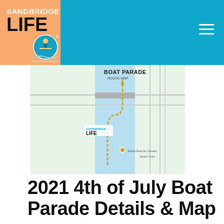Sandbridge Life
[Figure (map): Boat Parade Route Map with Sandbridge Life logo overlay, showing waterway routes in Sandbridge area]
2021 4th of July Boat Parade Details & Map
This year's Fourth of July Boat Parade is dedicated to Fred Greene and Jennifer Estes, who both passed away in February. Both had a long history with the boat parade – Fred as the co-founder